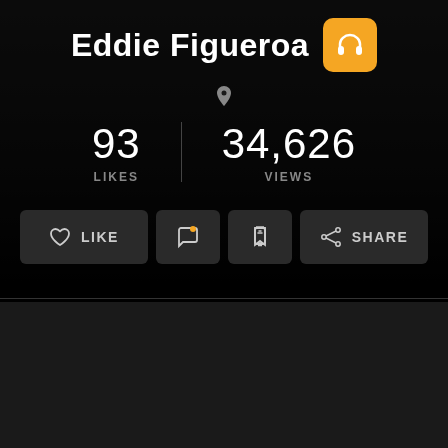Eddie Figueroa
93 LIKES
34,626 VIEWS
LIKE
SHARE
Last Visitors
[Figure (illustration): Row of circular user avatar icons with orange headphone badges at the bottom of each avatar]